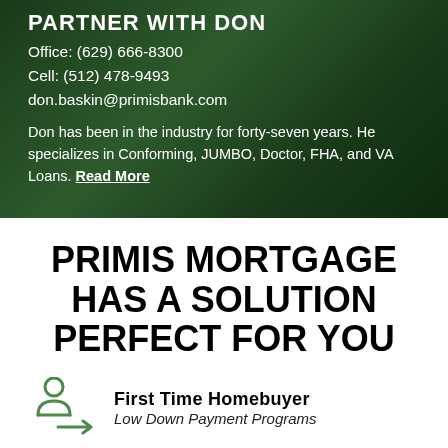PARTNER WITH DON
Office: (629) 666-8300
Cell: (512) 478-9493
don.baskin@primisbank.com
Don has been in the industry for forty-seven years. He specializes in Conforming, JUMBO, Doctor, FHA, and VA Loans. Read More
PRIMIS MORTGAGE HAS A SOLUTION PERFECT FOR YOU
[Figure (illustration): Green icon of a person with an arrow pointing right, representing a first time homebuyer]
First Time Homebuyer
Low Down Payment Programs
For more information and to apply, please...